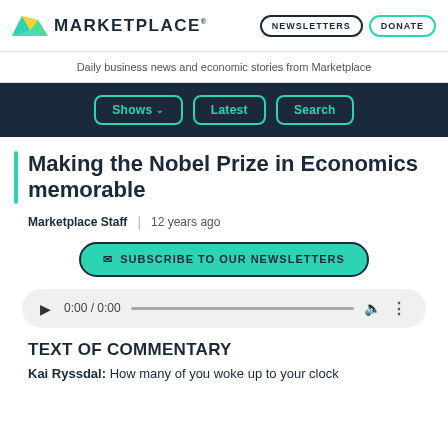MARKETPLACE — NEWSLETTERS | DONATE
Daily business news and economic stories from Marketplace
Shows ↓  Latest  Search
Making the Nobel Prize in Economics memorable
Marketplace Staff  |  12 years ago
✉ SUBSCRIBE TO OUR NEWSLETTERS
▶ 0:00 / 0:00 [audio bar] [volume] [more]
TEXT OF COMMENTARY
Kai Ryssdal: How many of you woke up to your clock